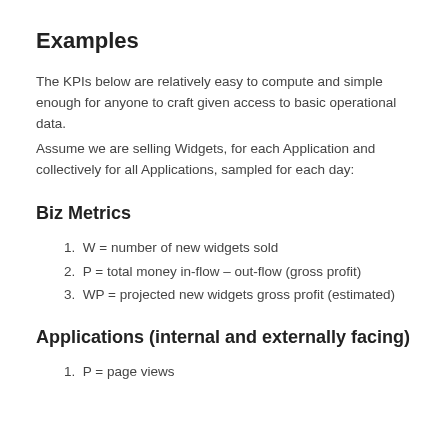Examples
The KPIs below are relatively easy to compute and simple enough for anyone to craft given access to basic operational data.
Assume we are selling Widgets, for each Application and collectively for all Applications, sampled for each day:
Biz Metrics
1. W = number of new widgets sold
2. P = total money in-flow – out-flow (gross profit)
3. WP = projected new widgets gross profit (estimated)
Applications (internal and externally facing)
1. P = page views